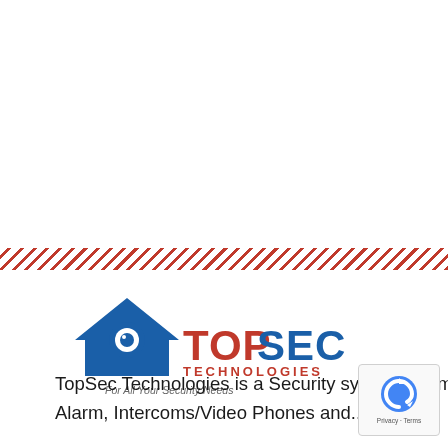[Figure (other): Diagonal red and white striped decorative band across full width of page]
[Figure (logo): TopSec Technologies logo: blue house/roof icon with camera eye, red 'TOP' text, blue 'SEC' text, red 'TECHNOLOGIES' subtext, and tagline 'For All Your Security Needs']
TopSec Technologies is a Security systems Company offering services in CCTV, Electric, Biometric, Alarm, Intercoms/Video Phones and...